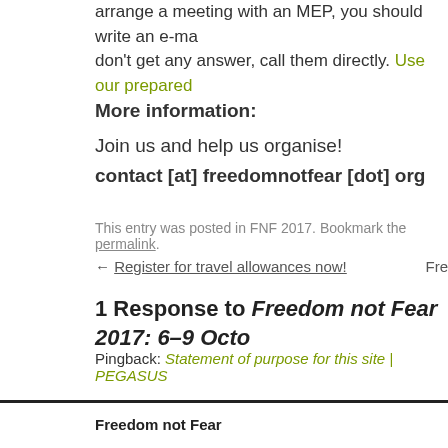arrange a meeting with an MEP, you should write an e-ma... don't get any answer, call them directly. Use our prepared
More information:
Join us and help us organise!
contact [at] freedomnotfear [dot] org
This entry was posted in FNF 2017. Bookmark the permalink.
← Register for travel allowances now!
Fre
1 Response to Freedom not Fear 2017: 6–9 Octo
Pingback: Statement of purpose for this site | PEGASUS
Freedom not Fear